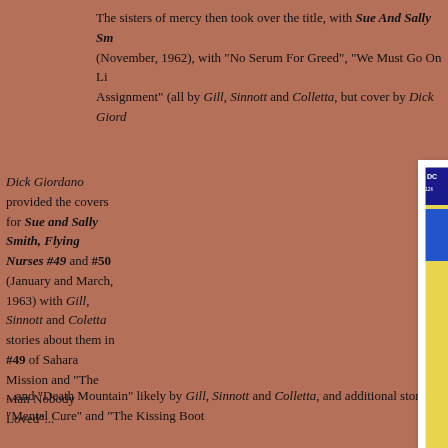The sisters of mercy then took over the title, with Sue And Sally Sm... (November, 1962), with "No Serum For Greed", "We Must Go On Li... Assignment" (all by Gill, Sinnott and Colletta, but cover by Dick Giord...
Dick Giordano provided the covers for Sue and Sally Smith, Flying Nurses #49 and #50 (January and March, 1963) with Gill, Sinnott and Coletta stories about them in #49 of Sahara Mission and "The Man Nobody Loved"...
[Figure (photo): Comic book covers for Sue and Sally Smith Flying Nurses issues #49 and #50. Cover #49 shows two nurses in blue uniforms with action scenes including parachuting, fire, and combat. Cover #50 partially visible on right showing similar theme with snowy mountain backdrop.]
...and "Death Mountain" likely by Gill, Sinnott and Colletta, and additional stories "Mental Cure" and "The Kissing Boot...